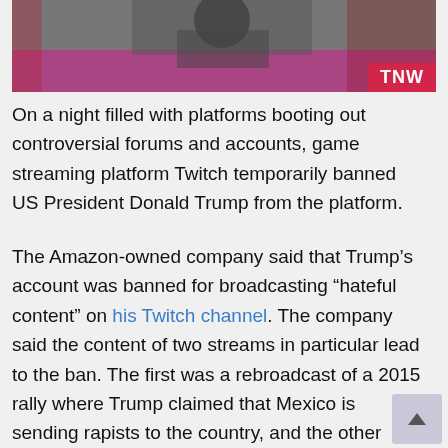[Figure (photo): Photo of a person at a rally/podium with an American flag in the background, overlaid with a magenta/pink banner at the bottom. TNW logo appears in the bottom-right corner of the image.]
On a night filled with platforms booting out controversial forums and accounts, game streaming platform Twitch temporarily banned US President Donald Trump from the platform.
The Amazon-owned company said that Trump’s account was banned for broadcasting “hateful content” on his Twitch channel. The company said the content of two streams in particular lead to the ban. The first was a rebroadcast of a 2015 rally where Trump claimed that Mexico is sending rapists to the country, and the other stream was his June 20 rally at Tulsa with racist comments. Twitch has now removed both streams.